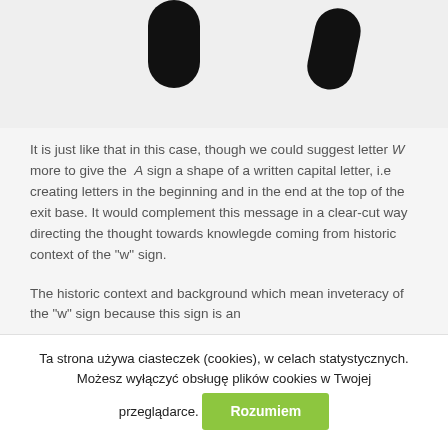[Figure (illustration): Two black rounded shapes (like legs of a letter W or A) visible at top of image area against light grey background]
It is just like that in this case, though we could suggest letter W more to give the A sign a shape of a written capital letter, i.e creating letters in the beginning and in the end at the top of the exit base. It would complement this message in a clear-cut way directing the thought towards knowlegde coming from historic context of the "w" sign.
The historic context and background which mean inveteracy of the "w" sign because this sign is an
Ta strona używa ciasteczek (cookies), w celach statystycznych. Możesz wyłączyć obsługę plików cookies w Twojej przeglądarce.
Rozumiem